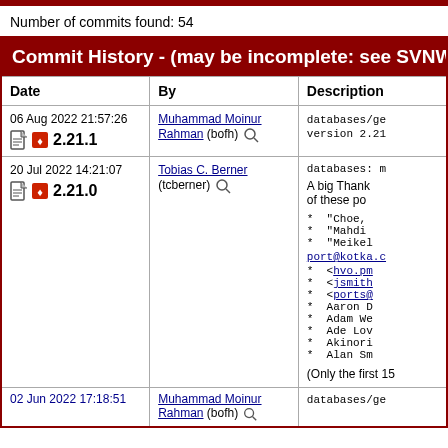Number of commits found: 54
| Date | By | Description |
| --- | --- | --- |
| 06 Aug 2022 21:57:26  2.21.1 | Muhammad Moinur Rahman (bofh) | databases/ge version 2.21 |
| 20 Jul 2022 14:21:07  2.21.0 | Tobias C. Berner (tcberner) | databases: m

A big Thank of these po

* "Choe,
* "Mahdi
* "Meikel port@kotka.c
* <hvo.pm
* <jsmith
* <ports@
* Aaron D
* Adam We
* Ade Lov
* Akinori
* Alan Sm

(Only the first 15 |
| 02 Jun 2022 17:18:51 | Muhammad Moinur Rahman (bofh) | databases/ge |